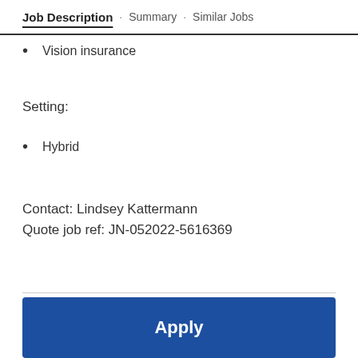Job Description · Summary · Similar Jobs
Vision insurance
Setting:
Hybrid
Contact: Lindsey Kattermann
Quote job ref: JN-052022-5616369
Job summary
Apply